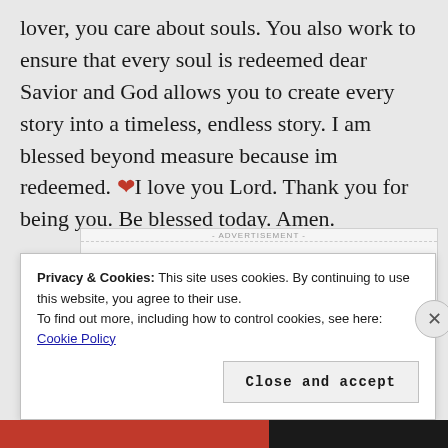lover, you care about souls. You also work to ensure that every soul is redeemed dear Savior and God allows you to create every story into a timeless, endless story. I am blessed beyond measure because im redeemed. ❤ I love you Lord. Thank you for being you. Be blessed today. Amen.
[Figure (screenshot): Advertisement banner: 'Build a writing habit. Post on the go.' with GET THE APP button and WordPress logo]
Privacy & Cookies: This site uses cookies. By continuing to use this website, you agree to their use.
To find out more, including how to control cookies, see here: Cookie Policy
Close and accept